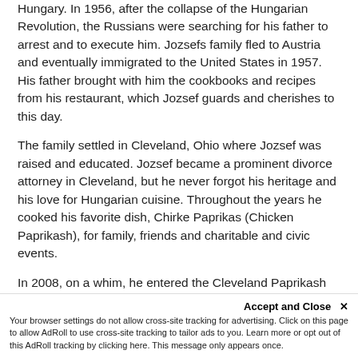Hungary. In 1956, after the collapse of the Hungarian Revolution, the Russians were searching for his father to arrest and to execute him. Jozsefs family fled to Austria and eventually immigrated to the United States in 1957. His father brought with him the cookbooks and recipes from his restaurant, which Jozsef guards and cherishes to this day.
The family settled in Cleveland, Ohio where Jozsef was raised and educated. Jozsef became a prominent divorce attorney in Cleveland, but he never forgot his heritage and his love for Hungarian cuisine. Throughout the years he cooked his favorite dish, Chirke Paprikas (Chicken Paprikash), for family, friends and charitable and civic events.
In 2008, on a whim, he entered the Cleveland Paprikash Cook-Off with Alto than southwhile on a template...
Accept and Close ✕
Your browser settings do not allow cross-site tracking for advertising. Click on this page to allow AdRoll to use cross-site tracking to tailor ads to you. Learn more or opt out of this AdRoll tracking by clicking here. This message only appears once.